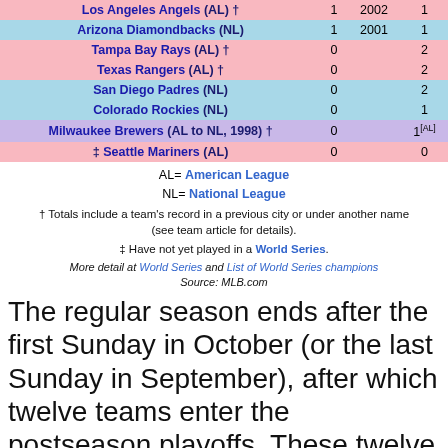| Team | Wins | Year of last win | Appearances |
| --- | --- | --- | --- |
| Los Angeles Angels (AL) † | 1 | 2002 | 1 |
| Arizona Diamondbacks (NL) | 1 | 2001 | 1 |
| Tampa Bay Rays (AL) † | 0 |  | 2 |
| Texas Rangers (AL) † | 0 |  | 2 |
| San Diego Padres (NL) | 0 |  | 2 |
| Colorado Rockies (NL) | 0 |  | 1 |
| Milwaukee Brewers (AL to NL, 1998) † | 0 |  | 1 [AL] |
| ‡ Seattle Mariners (AL) | 0 |  | 0 |
AL= American League
NL= National League
† Totals include a team's record in a previous city or under another name (see team article for details).
‡ Have not yet played in a World Series.
More detail at World Series and List of World Series champions
Source: MLB.com
The regular season ends after the first Sunday in October (or the last Sunday in September), after which twelve teams enter the postseason playoffs. These twelve teams consist of the six division champions and six "wild-card" teams: the team with the best overall win–loss record in each of the six divisions, and the three teams in each league with the best records